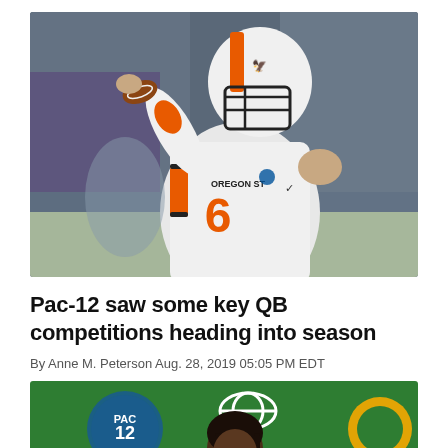[Figure (photo): Oregon State Beavers quarterback #6 in white jersey throwing a pass, wearing a white helmet with an orange visor guard, mid-throw action shot against a blurred outdoor stadium background]
Pac-12 saw some key QB competitions heading into season
By Anne M. Peterson Aug. 28, 2019 05:05 PM EDT
[Figure (photo): Press conference backdrop with Pac-12 and Oregon logos on green background, person with braided hair visible from shoulders up]